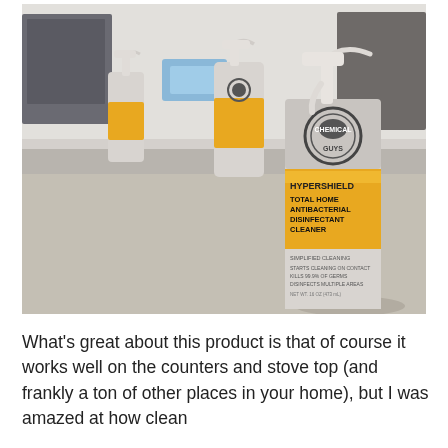[Figure (photo): Photo of Chemical Guys HyperShield Total Home Antibacterial Disinfectant Cleaner spray bottles on a kitchen counter. Two bottles are visible in the background (smaller/farther away) and one large bottle is in the foreground on the right, showing the yellow and silver label with spray nozzle. Kitchen appliances and products are visible in the background.]
What's great about this product is that of course it works well on the counters and stove top (and frankly a ton of other places in your home), but I was amazed at how clean